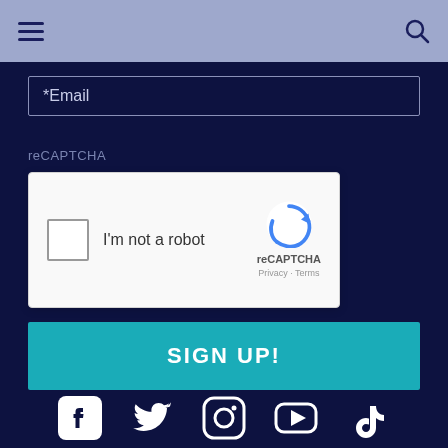Navigation bar with hamburger menu and search icon
*Email
reCAPTCHA
[Figure (screenshot): reCAPTCHA widget showing checkbox with 'I'm not a robot' text, reCAPTCHA logo, Privacy and Terms links]
SIGN UP!
[Figure (illustration): Social media icons row: Facebook, Twitter, Instagram, YouTube, TikTok]
LOOKING FOR MORE